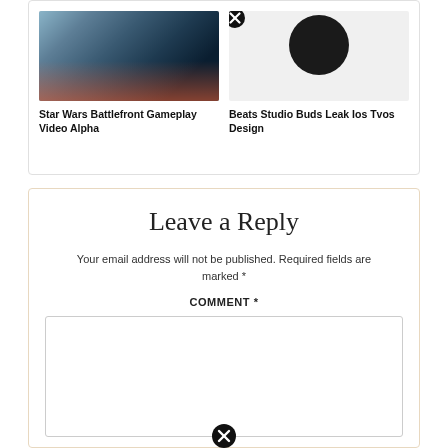[Figure (screenshot): Star Wars Battlefront gameplay screenshot showing soldiers in snowy battle scene]
Star Wars Battlefront Gameplay Video Alpha
[Figure (photo): Beats Studio Buds product photo showing black wireless earbuds on white background]
Beats Studio Buds Leak Ios Tvos Design
Leave a Reply
Your email address will not be published. Required fields are marked *
COMMENT *